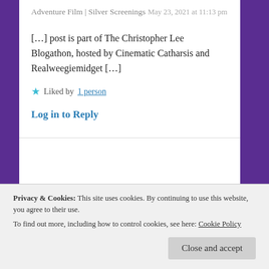Adventure Film | Silver Screenings
May 23, 2021 at 11:13 pm
[…] post is part of The Christopher Lee Blogathon, hosted by Cinematic Catharsis and Realweegiemidget […]
★ Liked by 1 person
Log in to Reply
Privacy & Cookies: This site uses cookies. By continuing to use this website, you agree to their use.
To find out more, including how to control cookies, see here: Cookie Policy
Close and accept